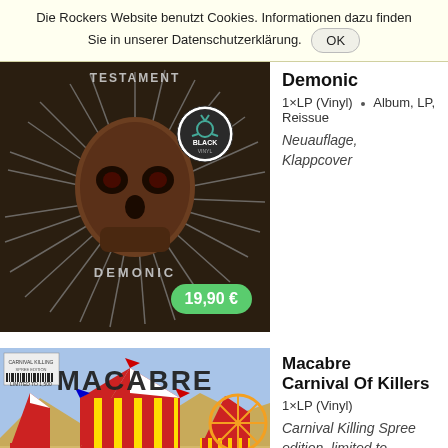Die Rockers Website benutzt Cookies. Informationen dazu finden Sie in unserer Datenschutzerklärung. OK
[Figure (photo): Testament - Demonic album cover showing a skull with nails radiating outward, with a Black Vinyl badge. Price badge showing 19,90 €.]
Demonic
1×LP (Vinyl) · Album, LP, Reissue
Neuauflage, Klappcover
[Figure (photo): Macabre - Carnival Of Killers album cover showing a carnival scene with tents, rides, and colorful imagery. MACABRE text prominently displayed.]
Macabre
Carnival Of Killers
1×LP (Vinyl)
Carnival Killing Spree edition, limited to